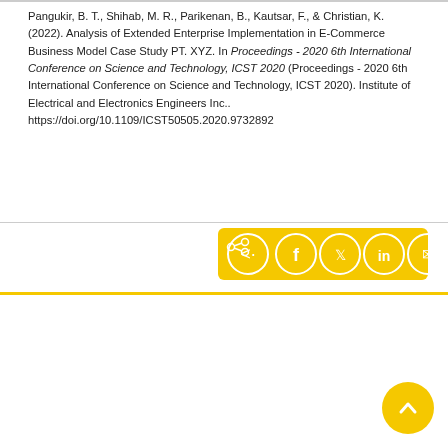Pangukir, B. T., Shihab, M. R., Parikenan, B., Kautsar, F., & Christian, K. (2022). Analysis of Extended Enterprise Implementation in E-Commerce Business Model Case Study PT. XYZ. In Proceedings - 2020 6th International Conference on Science and Technology, ICST 2020 (Proceedings - 2020 6th International Conference on Science and Technology, ICST 2020). Institute of Electrical and Electronics Engineers Inc.. https://doi.org/10.1109/ICST50505.2020.9732892
[Figure (other): Social share buttons bar with icons for share, Facebook, Twitter, LinkedIn, and email on a yellow background]
Powered by Pure, Scopus & Elsevier Fingerprint Engine™ © 2022 Elsevier B.V.
We use cookies to help provide and enhance our service and tailor content. By continuing you agree to the use of cookies
Log in to Pure